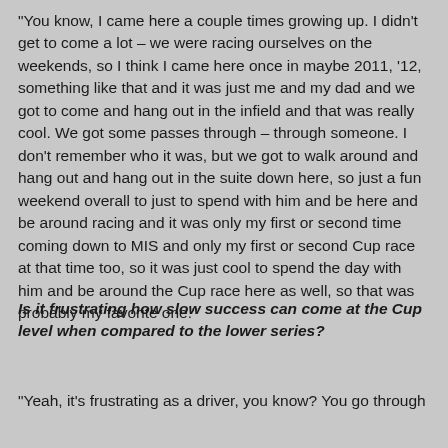“You know, I came here a couple times growing up. I didn’t get to come a lot – we were racing ourselves on the weekends, so I think I came here once in maybe 2011, ‘12, something like that and it was just me and my dad and we got to come and hang out in the infield and that was really cool. We got some passes through – through someone. I don’t remember who it was, but we got to walk around and hang out and hang out in the suite down here, so just a fun weekend overall to just to spend with him and be here and be around racing and it was only my first or second time coming down to MIS and only my first or second Cup race at that time too, so it was just cool to spend the day with him and be around the Cup race here as well, so that was probably my favorite one.”
Is it frustrating how slow success can come at the Cup level when compared to the lower series?
“Yeah, it’s frustrating as a driver, you know? You go through